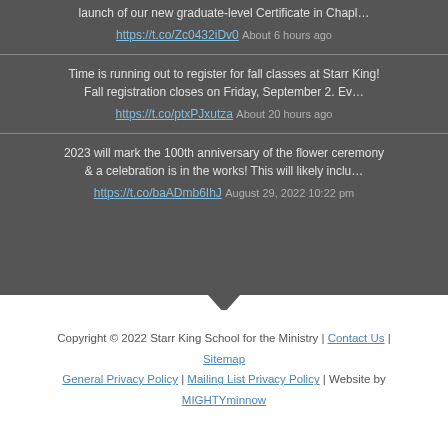launch of our new graduate-level Certificate in Chapl… https://t.co/Zc0432iDv0 About 6 hours ago
Time is running out to register for fall classes at Starr King! Fall registration closes on Friday, September 2. Ev… https://t.co/ptxPJxutza About 20 hours ago
2023 will mark the 100th anniversary of the flower ceremony & a celebration is in the works! This will likely inclu… https://t.co/baADmb6IhJ August 29, 2022 10:22 pm
Copyright © 2022 Starr King School for the Ministry | Contact Us | Sitemap General Privacy Policy | Mailing List Privacy Policy | Website by MIGHTYminnow